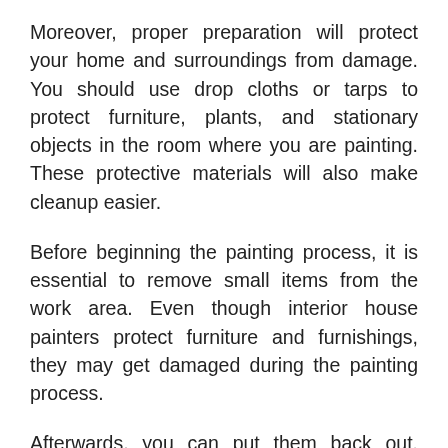Moreover, proper preparation will protect your home and surroundings from damage. You should use drop cloths or tarps to protect furniture, plants, and stationary objects in the room where you are painting. These protective materials will also make cleanup easier.
Before beginning the painting process, it is essential to remove small items from the work area. Even though interior house painters protect furniture and furnishings, they may get damaged during the painting process.
Afterwards, you can put them back out. However, it is best to cover them with plastic or other protective covering to protect them from paint. This will prevent any paint from affecting the furniture or objects that are left inside. The interior house